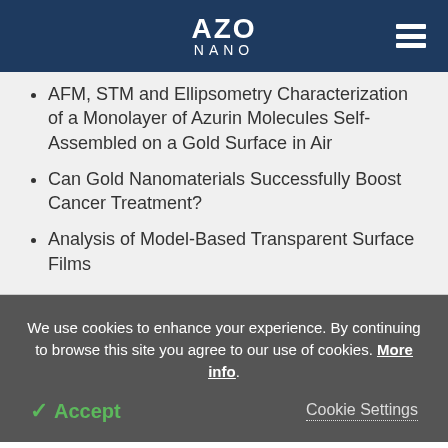AZO NANO
AFM, STM and Ellipsometry Characterization of a Monolayer of Azurin Molecules Self-Assembled on a Gold Surface in Air
Can Gold Nanomaterials Successfully Boost Cancer Treatment?
Analysis of Model-Based Transparent Surface Films
We use cookies to enhance your experience. By continuing to browse this site you agree to our use of cookies. More info.
✓ Accept
Cookie Settings